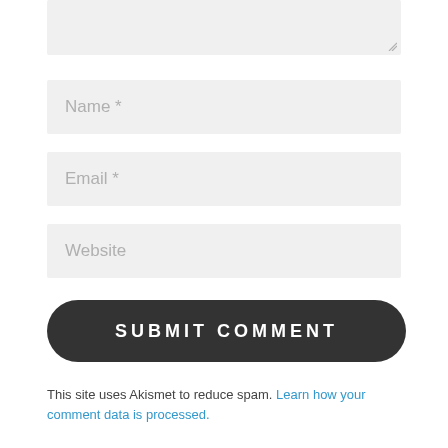[Figure (screenshot): Comment textarea input box (partially visible, top of page), gray background with resize handle]
Name *
Email *
Website
SUBMIT COMMENT
This site uses Akismet to reduce spam. Learn how your comment data is processed.